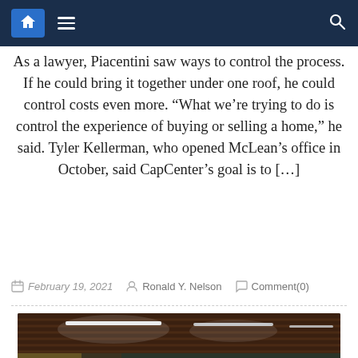Navigation bar with home, menu, and search icons
As a lawyer, Piacentini saw ways to control the process. If he could bring it together under one roof, he could control costs even more. “What we’re trying to do is control the experience of buying or selling a home,” he said. Tyler Kellerman, who opened McLean’s office in October, said CapCenter’s goal is to […]
February 19, 2021   Ronald Y. Nelson   Comment(0)
[Figure (photo): A man in a light blue button-up shirt standing in a modern office space with billiard table in foreground, exit sign visible, modern ceiling lights, and office furniture in background.]